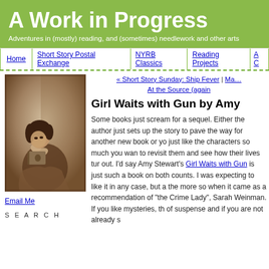A Work in Progress
Adventures in (mostly) reading, and (sometimes) needlework and other arts
Home | Short Story Postal Exchange | NYRB Classics | Reading Projects | A C
[Figure (photo): Vintage sepia photograph of a woman resting her head on her hand, leaning on a book]
Email Me
S E A R C H
« Short Story Sunday: Ship Fever | Ma... At the Source (again
Girl Waits with Gun by Amy
Some books just scream for a sequel.  Either the author just sets up the story to pave the way for another new book or you just like the characters so much you want to revisit them and see how their lives turn out.  I'd say Amy Stewart's Girl Waits with Gun is just such a book on both counts.  I was expecting to like it in any case, but all the more so when it came as a recommendation of "the Crime Lady", Sarah Weinman.  If you like mysteries, the of suspense and if you are not already s